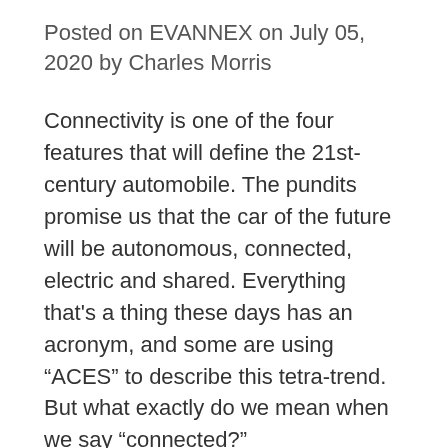Posted on EVANNEX on July 05, 2020 by Charles Morris
Connectivity is one of the four features that will define the 21st-century automobile. The pundits promise us that the car of the future will be autonomous, connected, electric and shared. Everything that’s a thing these days has an acronym, and some are using “ACES” to describe this tetra-trend. But what exactly do we mean when we say “connected?”